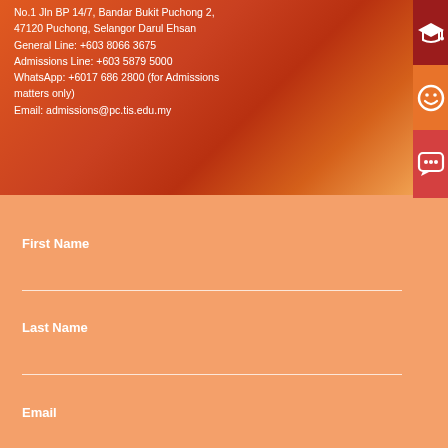No.1 Jln BP 14/7, Bandar Bukit Puchong 2, 47120 Puchong, Selangor Darul Ehsan
General Line: +603 8066 3675
Admissions Line: +603 5879 5000
WhatsApp: +6017 686 2800 (for Admissions matters only)
Email: admissions@pc.tis.edu.my
First Name
Last Name
Email